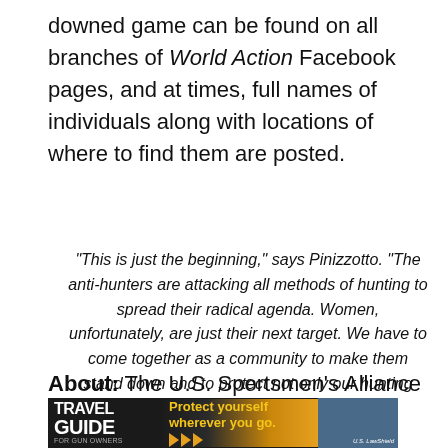downed game can be found on all branches of World Action Facebook pages, and at times, full names of individuals along with locations of where to find them are posted.
“This is just the beginning,” says Pinizzotto. “The anti-hunters are attacking all methods of hunting to spread their radical agenda. Women, unfortunately, are just their next target. We have to come together as a community to make them stand down and to protect not only our hunting heritage, but all who enjoy it.”
About: The U.S. Sportsmen’s Alliance is a
[Figure (photo): Travel Guide for Gun Owners advertisement banner with dark background, yellow text reading 'Protect yourself wherever you go.' with orange play-button arrows and U.S. LawShield logo on right side.]